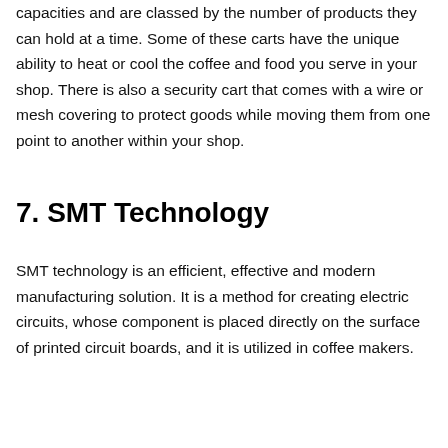capacities and are classed by the number of products they can hold at a time. Some of these carts have the unique ability to heat or cool the coffee and food you serve in your shop. There is also a security cart that comes with a wire or mesh covering to protect goods while moving them from one point to another within your shop.
7. SMT Technology
SMT technology is an efficient, effective and modern manufacturing solution. It is a method for creating electric circuits, whose component is placed directly on the surface of printed circuit boards, and it is utilized in coffee makers.